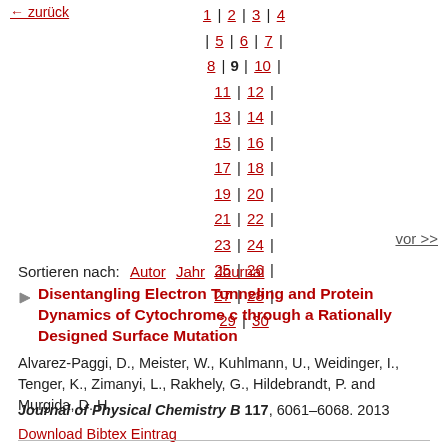Pagination: 1 | 2 | 3 | 4 | 5 | 6 | 7 | 8 | 9 | 10 | 11 | 12 | 13 | 14 | 15 | 16 | 17 | 18 | 19 | 20 | 21 | 22 | 23 | 24 | 25 | 26 | 27 | 28 | 29 | 30
Sortieren nach: Autor  Jahr  Journal
Disentangling Electron Tunneling and Protein Dynamics of Cytochrome c through a Rationally Designed Surface Mutation
Alvarez-Paggi, D., Meister, W., Kuhlmann, U., Weidinger, I., Tenger, K., Zimanyi, L., Rakhely, G., Hildebrandt, P. and Murgida, D. H.
Journal of Physical Chemistry B 117, 6061–6068. 2013
Download Bibtex Eintrag
The structure of the bilayer-lipid factor in the Pfactor...